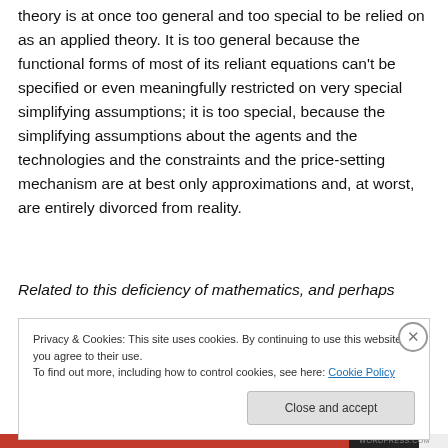theory is at once too general and too special to be relied on as an applied theory. It is too general because the functional forms of most of its reliant equations can't be specified or even meaningfully restricted on very special simplifying assumptions; it is too special, because the simplifying assumptions about the agents and the technologies and the constraints and the price-setting mechanism are at best only approximations and, at worst, are entirely divorced from reality.
Related to this deficiency of mathematics, and perhaps
Privacy & Cookies: This site uses cookies. By continuing to use this website, you agree to their use.
To find out more, including how to control cookies, see here: Cookie Policy
Close and accept